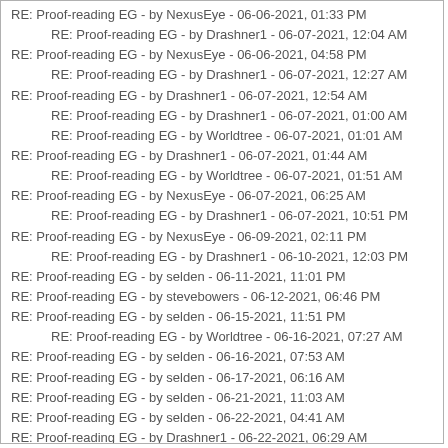RE: Proof-reading EG - by NexusEye - 06-06-2021, 01:33 PM
RE: Proof-reading EG - by Drashner1 - 06-07-2021, 12:04 AM
RE: Proof-reading EG - by NexusEye - 06-06-2021, 04:58 PM
RE: Proof-reading EG - by Drashner1 - 06-07-2021, 12:27 AM
RE: Proof-reading EG - by Drashner1 - 06-07-2021, 12:54 AM
RE: Proof-reading EG - by Drashner1 - 06-07-2021, 01:00 AM
RE: Proof-reading EG - by Worldtree - 06-07-2021, 01:01 AM
RE: Proof-reading EG - by Drashner1 - 06-07-2021, 01:44 AM
RE: Proof-reading EG - by Worldtree - 06-07-2021, 01:51 AM
RE: Proof-reading EG - by NexusEye - 06-07-2021, 06:25 AM
RE: Proof-reading EG - by Drashner1 - 06-07-2021, 10:51 PM
RE: Proof-reading EG - by NexusEye - 06-09-2021, 02:11 PM
RE: Proof-reading EG - by Drashner1 - 06-10-2021, 12:03 PM
RE: Proof-reading EG - by selden - 06-11-2021, 11:01 PM
RE: Proof-reading EG - by stevebowers - 06-12-2021, 06:46 PM
RE: Proof-reading EG - by selden - 06-15-2021, 11:51 PM
RE: Proof-reading EG - by Worldtree - 06-16-2021, 07:27 AM
RE: Proof-reading EG - by selden - 06-16-2021, 07:53 AM
RE: Proof-reading EG - by selden - 06-17-2021, 06:16 AM
RE: Proof-reading EG - by selden - 06-21-2021, 11:03 AM
RE: Proof-reading EG - by selden - 06-22-2021, 04:41 AM
RE: Proof-reading EG - by Drashner1 - 06-22-2021, 06:29 AM
RE: Proof-reading EG - by selden - 06-22-2021, 07:16 AM
RE: Proof-reading EG - by Worldtree - 07-13-2021, 10:58 PM
RE: Proof-reading EG - by Worldtree - 10-23-2021, 01:06 AM